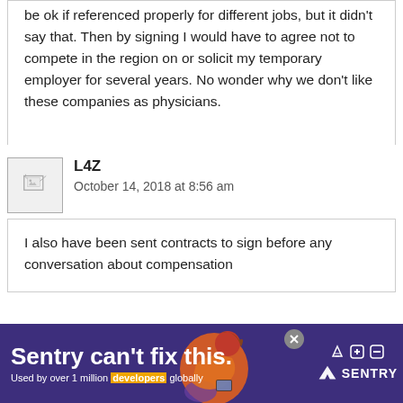be ok if referenced properly for different jobs, but it didn't say that. Then by signing I would have to agree not to compete in the region on or solicit my temporary employer for several years. No wonder why we don't like these companies as physicians.
L4Z
October 14, 2018 at 8:56 am
[Figure (other): User avatar placeholder image with broken image icon]
I also have been sent contracts to sign before any conversation about compensation
[Figure (other): Sentry advertisement banner: 'Sentry can't fix this. Used by over 1 million developers globally' with an illustration of a person and the Sentry logo.]